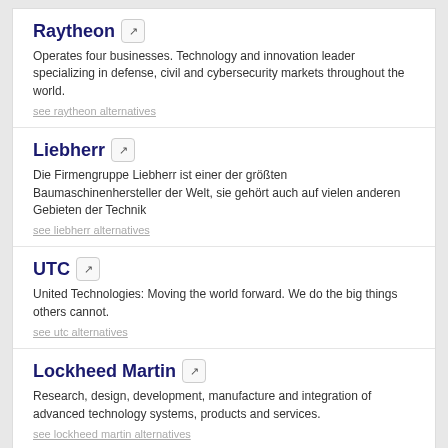Raytheon
Operates four businesses. Technology and innovation leader specializing in defense, civil and cybersecurity markets throughout the world.
see raytheon alternatives
Liebherr
Die Firmengruppe Liebherr ist einer der größten Baumaschinenhersteller der Welt, sie gehört auch auf vielen anderen Gebieten der Technik
see liebherr alternatives
UTC
United Technologies: Moving the world forward. We do the big things others cannot.
see utc alternatives
Lockheed Martin
Research, design, development, manufacture and integration of advanced technology systems, products and services.
see lockheed martin alternatives
UAC RUSSIA ALTERNATIVES IN ARMS MANUFACTURERS
Honeywell
Honeywell (NYSE: HON) is a Fortune 100 company that invents and manufactures solutions to address some of the world's toughest